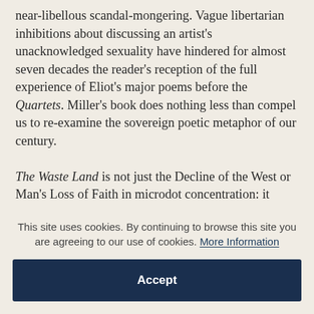near-libellous scandal-mongering. Vague libertarian inhibitions about discussing an artist's unacknowledged sexuality have hindered for almost seven decades the reader's reception of the full experience of Eliot's major poems before the Quartets. Miller's book does nothing less than compel us to re-examine the sovereign poetic metaphor of our century.
The Waste Land is not just the Decline of the West or Man's Loss of Faith in microdot concentration: it
This site uses cookies. By continuing to browse this site you are agreeing to our use of cookies. More Information
Accept